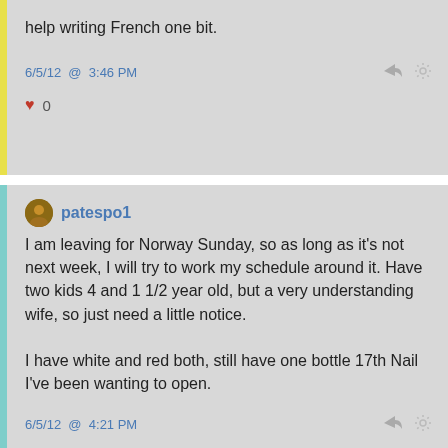help writing French one bit.
6/5/12 @ 3:46 PM
♥ 0
patespo1
I am leaving for Norway Sunday, so as long as it's not next week, I will try to work my schedule around it. Have two kids 4 and 1 1/2 year old, but a very understanding wife, so just need a little notice.

I have white and red both, still have one bottle 17th Nail I've been wanting to open.
6/5/12 @ 4:21 PM